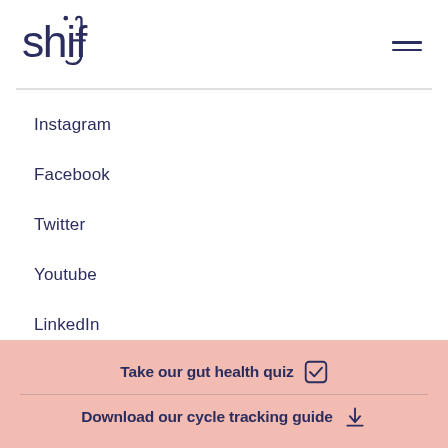shiff [logo] [hamburger menu]
Instagram
Facebook
Twitter
Youtube
LinkedIn
Take our gut health quiz  [checkbox icon]
Download our cycle tracking guide  [download icon]